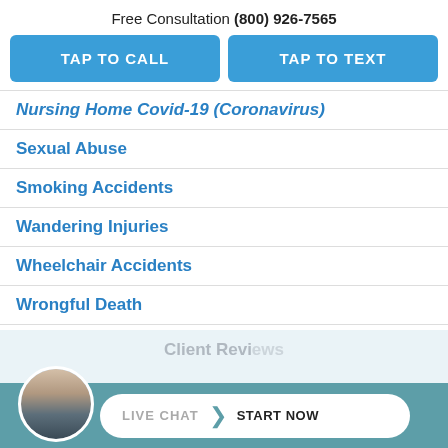Free Consultation (800) 926-7565
TAP TO CALL
TAP TO TEXT
Nursing Home Covid-19 (Coronavirus)
Sexual Abuse
Smoking Accidents
Wandering Injuries
Wheelchair Accidents
Wrongful Death
Client Reviews
LIVE CHAT START NOW